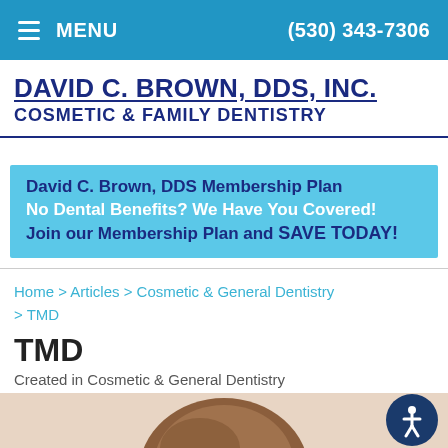MENU  (530) 343-7306
DAVID C. BROWN, DDS, INC.
COSMETIC & FAMILY DENTISTRY
[Figure (infographic): Light blue banner advertising David C. Brown DDS Membership Plan: 'David C. Brown, DDS Membership Plan / No Dental Benefits? We Have You Covered! / Join our Membership Plan and SAVE TODAY!']
Home > Articles > Cosmetic & General Dentistry > TMD
TMD
Created in Cosmetic & General Dentistry
[Figure (photo): Partial view of a person's head with brown hair, cropped at the top of the page bottom.]